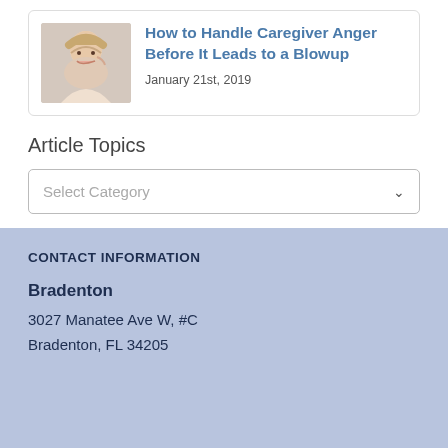[Figure (photo): Thumbnail photo of a woman with her hand near her face, appearing distressed]
How to Handle Caregiver Anger Before It Leads to a Blowup
January 21st, 2019
Article Topics
Select Category
CONTACT INFORMATION
Bradenton
3027 Manatee Ave W, #C
Bradenton, FL 34205